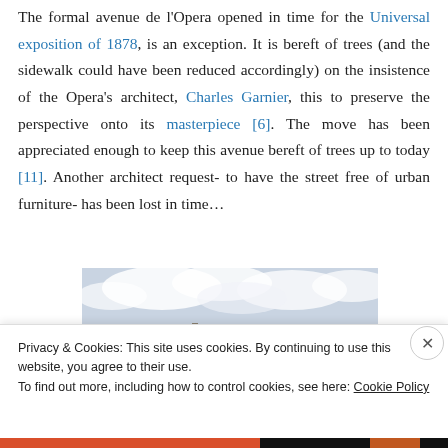The formal avenue de l'Opera opened in time for the Universal exposition of 1878, is an exception. It is bereft of trees (and the sidewalk could have been reduced accordingly) on the insistence of the Opera's architect, Charles Garnier, this to preserve the perspective onto its masterpiece [6]. The move has been appreciated enough to keep this avenue bereft of trees up to today [11]. Another architect request- to have the street free of urban furniture- has been lost in time…
[Figure (photo): Painting showing a Parisian boulevard with cloudy sky, partial view cropped at top showing buildings and trees in impressionist style.]
Privacy & Cookies: This site uses cookies. By continuing to use this website, you agree to their use.
To find out more, including how to control cookies, see here: Cookie Policy